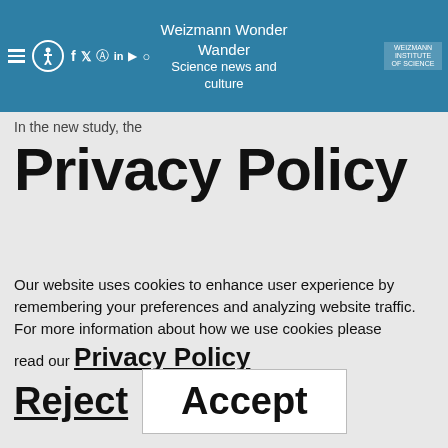Weizmann Wonder Wander — Science news and culture
In the new study, the
Privacy Policy
Our website uses cookies to enhance user experience by remembering your preferences and analyzing website traffic.
For more information about how we use cookies please read our Privacy Policy
Reject   Accept